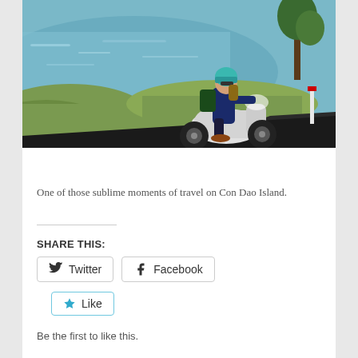[Figure (photo): A woman wearing a teal helmet and dark clothing riding a white scooter on a coastal road. Blue ocean water and green grass are visible in the background.]
One of those sublime moments of travel on Con Dao Island.
SHARE THIS:
Twitter  Facebook
Like
Be the first to like this.